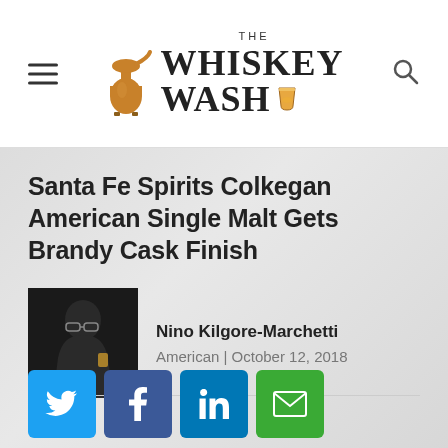The Whiskey Wash
Santa Fe Spirits Colkegan American Single Malt Gets Brandy Cask Finish
Nino Kilgore-Marchetti
American | October 12, 2018